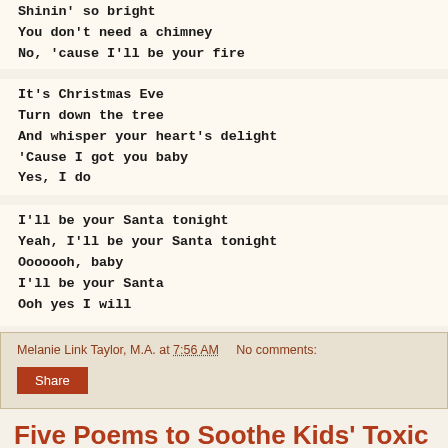Shinin' so bright
You don't need a chimney
No, 'cause I'll be your fire
It's Christmas Eve
Turn down the tree
And whisper your heart's delight
'Cause I got you baby
Yes, I do
I'll be your Santa tonight
Yeah, I'll be your Santa tonight
Ooooooh, baby
I'll be your Santa
Ooh yes I will
Melanie Link Taylor, M.A. at 7:56 AM    No comments:
Share
Five Poems to Soothe Kids' Toxic Stress